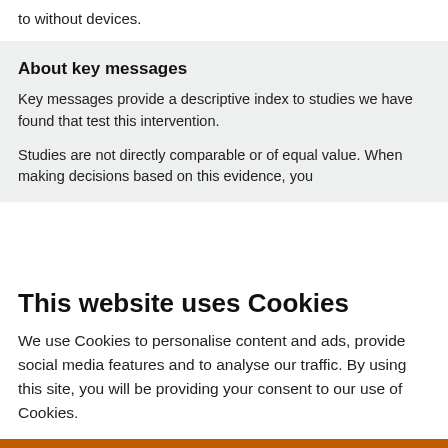to without devices.
About key messages
Key messages provide a descriptive index to studies we have found that test this intervention.
Studies are not directly comparable or of equal value. When making decisions based on this evidence, you
This website uses Cookies
We use Cookies to personalise content and ads, provide social media features and to analyse our traffic. By using this site, you will be providing your consent to our use of Cookies.
Accept & continue